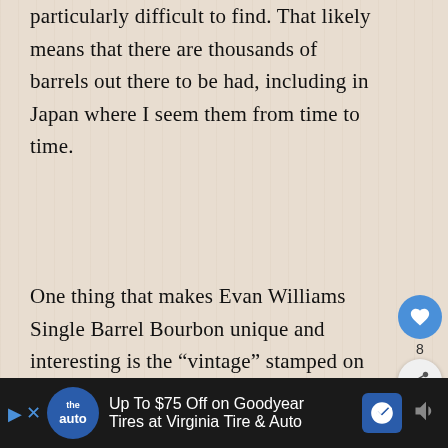particularly difficult to find. That likely means that there are thousands of barrels out there to be had, including in Japan where I seem them from time to time.
One thing that makes Evan Williams Single Barrel Bourbon unique and interesting is the “vintage” stamped on the front label that indicates the year the bourbon was put into oak to age. That alone only tells half the story, so you still want to look at the back label to see the exact dates when it was barreled and bottled. That said, I have no idea if any particular are better than others.
[Figure (other): Advertisement banner: Up To $75 Off on Goodyear Tires at Virginia Tire & Auto, with auto logo and navigation arrow icon]